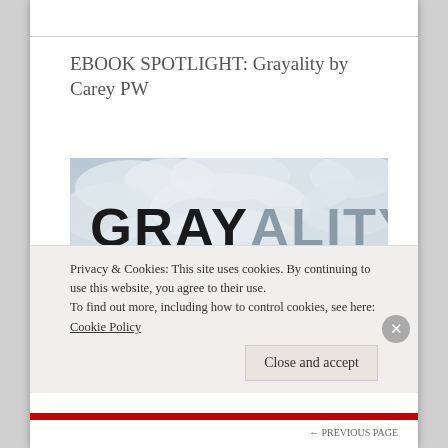EBOOK SPOTLIGHT: Grayality by Carey PW
[Figure (photo): Book cover for 'Grayality' by Carey PW showing the title in large bold letters with 'GRAY' in dark and 'ALITY' in gray, subtitle 'LOVE KNOWS NO GENDER' against a cloudy sky background with a figure visible at the bottom.]
Privacy & Cookies: This site uses cookies. By continuing to use this website, you agree to their use.
To find out more, including how to control cookies, see here: Cookie Policy
Close and accept